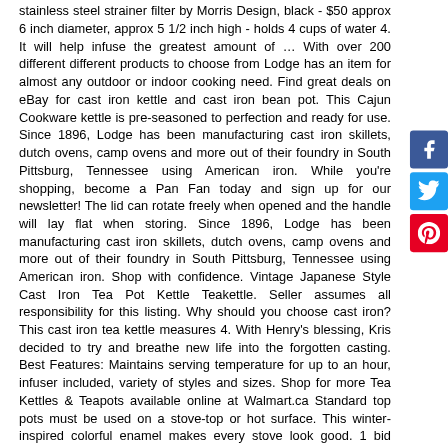stainless steel strainer filter by Morris Design, black - $50 approx 6 inch diameter, approx 5 1/2 inch high - holds 4 cups of water 4. It will help infuse the greatest amount of … With over 200 different different products to choose from Lodge has an item for almost any outdoor or indoor cooking need. Find great deals on eBay for cast iron kettle and cast iron bean pot. This Cajun Cookware kettle is pre-seasoned to perfection and ready for use. Since 1896, Lodge has been manufacturing cast iron skillets, dutch ovens, camp ovens and more out of their foundry in South Pittsburg, Tennessee using American iron. While you're shopping, become a Pan Fan today and sign up for our newsletter! The lid can rotate freely when opened and the handle will lay flat when storing. Since 1896, Lodge has been manufacturing cast iron skillets, dutch ovens, camp ovens and more out of their foundry in South Pittsburg, Tennessee using American iron. Shop with confidence. Vintage Japanese Style Cast Iron Tea Pot Kettle Teakettle. Seller assumes all responsibility for this listing. Why should you choose cast iron? This cast iron tea kettle measures 4. With Henry's blessing, Kris decided to try and breathe new life into the forgotten casting. Best Features: Maintains serving temperature for up to an hour, infuser included, variety of styles and sizes. Shop for more Tea Kettles & Teapots available online at Walmart.ca Standard top pots must be used on a stove-top or hot surface. This winter-inspired colorful enamel makes every stove look good. 1 bid +$25.00 shipping. Shop now, Shop our NEW Winter Series Enameled Cast Iron Dutch Ovens. I don't know much